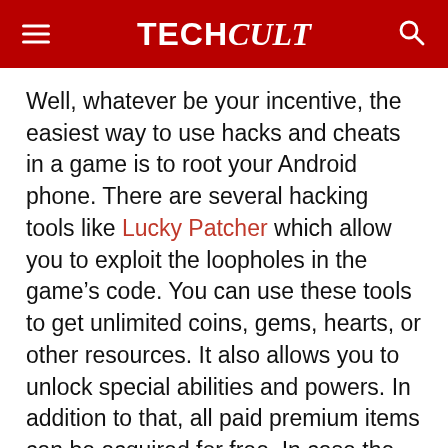TECH Cult
Well, whatever be your incentive, the easiest way to use hacks and cheats in a game is to root your Android phone. There are several hacking tools like Lucky Patcher which allow you to exploit the loopholes in the game’s code. You can use these tools to get unlimited coins, gems, hearts, or other resources. It also allows you to unlock special abilities and powers. In addition to that, all paid premium items can be acquired for free. In case the game contains ads, then these hacking tools and ads can get rid of them too. In short, you will have complete